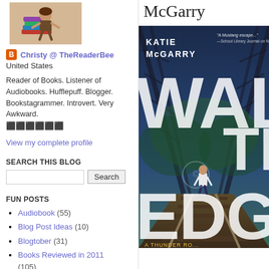[Figure (photo): Blog profile image showing a cartoon/illustrated figure sitting on a stack of books]
Christy @ TheReaderBee
United States
Reader of Books. Listener of Audiobooks. Hufflepuff. Blogger. Bookstagrammer. Introvert. Very Awkward. 🐝🐝🐝🐝🐝🐝
View my complete profile
SEARCH THIS BLOG
Search
FUN POSTS
Audiobook (55)
Blog Post Ideas (10)
Blogtober (31)
Books Reviewed in 2011 (105)
Books Reviewed in 2012 (67)
McGarry
[Figure (photo): Book cover of 'Walk the Edge' by Katie McGarry, A Thunder Road novel, showing a young man walking on railroad tracks under a bridge at night]